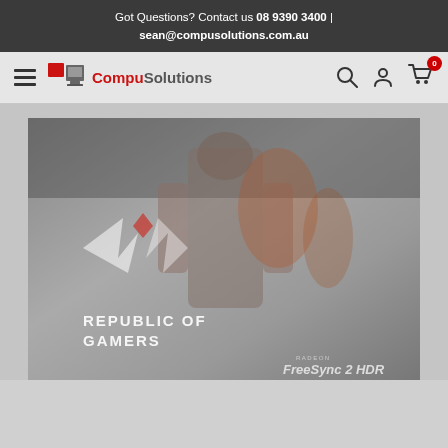Got Questions? Contact us 08 9390 3400 | sean@compusolutions.com.au
[Figure (logo): CompuSolutions logo with red and grey computer icon and text 'CompuSolutions']
[Figure (photo): ASUS Republic of Gamers promotional image showing ROG logo with robot/armored figure and 'REPUBLIC OF GAMERS' text, AMD Radeon FreeSync 2 HDR badge in corner]